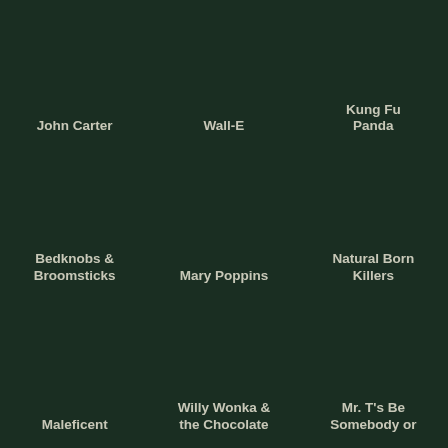John Carter
Wall-E
Kung Fu Panda
Bedknobs & Broomsticks
Mary Poppins
Natural Born Killers
Maleficent
Willy Wonka & the Chocolate
Mr. T's Be Somebody or